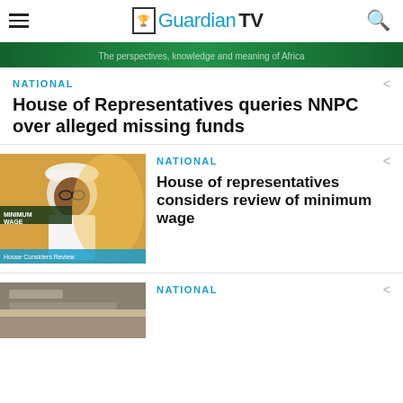GuardianTV
[Figure (photo): Green banner image with text, partially visible at top of page]
NATIONAL
House of Representatives queries NNPC over alleged missing funds
[Figure (photo): Man in traditional Nigerian attire at a podium; overlay text reads 'MINIMUM WAGE' and 'House Considers Review']
NATIONAL
House of representatives considers review of minimum wage
[Figure (photo): Partial image of a building or scene, bottom of page, partially visible]
NATIONAL